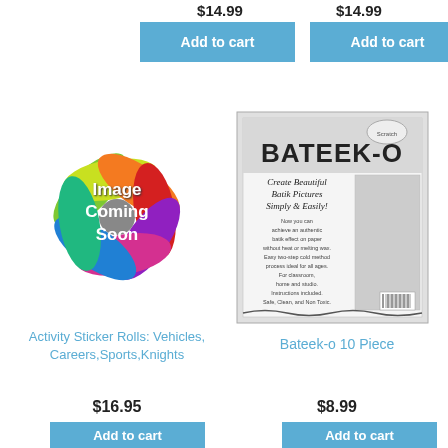$14.99
$14.99
Add to cart
Add to cart
[Figure (illustration): Colorful pinwheel/flower graphic with text 'Image Coming Soon' overlaid in white bold text]
[Figure (photo): Product box for Bateek-o 10 Piece showing 'BATEEK-O' in large bold text, 'Create Beautiful Batik Pictures Simply & Easily!' in italic, and descriptive text about the product. Includes a scenic image on the right side and a barcode. Scratch Art logo in top right.]
Activity Sticker Rolls: Vehicles, Careers,Sports,Knights
$16.95
Bateek-o 10 Piece
$8.99
Add to cart
Add to cart